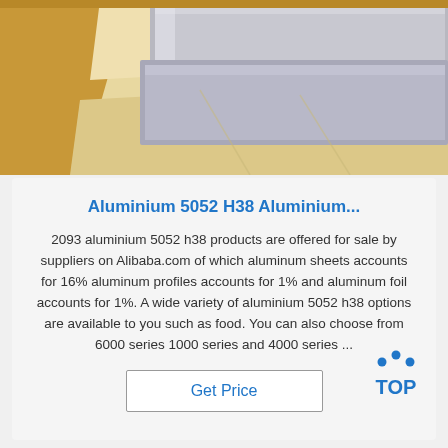[Figure (photo): Product photo of aluminium 5052 h38 sheets in packaging — silver metal sheets on light yellow/beige wrapping paper inside a box]
Aluminium 5052 H38 Aluminium...
2093 aluminium 5052 h38 products are offered for sale by suppliers on Alibaba.com of which aluminum sheets accounts for 16% aluminum profiles accounts for 1% and aluminum foil accounts for 1%. A wide variety of aluminium 5052 h38 options are available to you such as food. You can also choose from 6000 series 1000 series and 4000 series ...
[Figure (logo): TOP badge logo — blue dots arranged in arc above bold blue text 'TOP']
Get Price